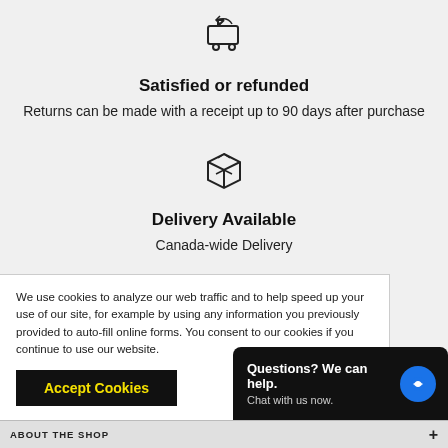[Figure (illustration): Return/refund cart icon with an arrow pointing back]
Satisfied or refunded
Returns can be made with a receipt up to 90 days after purchase
[Figure (illustration): Delivery box / package icon]
Delivery Available
Canada-wide Delivery
[Figure (illustration): Store/shop icon with horizontal lines and a building]
We use cookies to analyze our web traffic and to help speed up your use of our site, for example by using any information you previously provided to auto-fill online forms. You consent to our cookies if you continue to use our website.
Accept Cookies
Questions? We can help. Chat with us now.
ABOUT THE SHOP